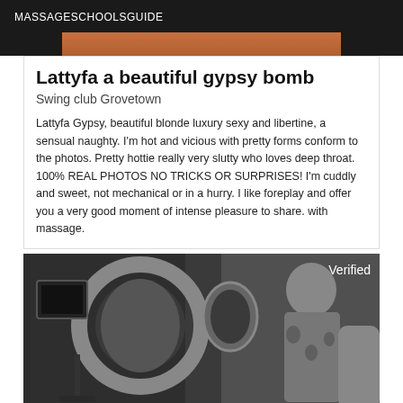MASSAGESCHOOLSGUIDE
[Figure (photo): Partial top image strip showing a person with warm skin tones]
Lattyfa a beautiful gypsy bomb
Swing club Grovetown
Lattyfa Gypsy, beautiful blonde luxury sexy and libertine, a sensual naughty. I'm hot and vicious with pretty forms conform to the photos. Pretty hottie really very slutty who loves deep throat. 100% REAL PHOTOS NO TRICKS OR SURPRISES! I'm cuddly and sweet, not mechanical or in a hurry. I like foreplay and offer you a very good moment of intense pleasure to share. with massage.
[Figure (photo): Black and white photo of a woman sitting in what appears to be a private jet interior, with a ring light and camera equipment visible on the left. A 'Verified' badge appears in the top right corner.]